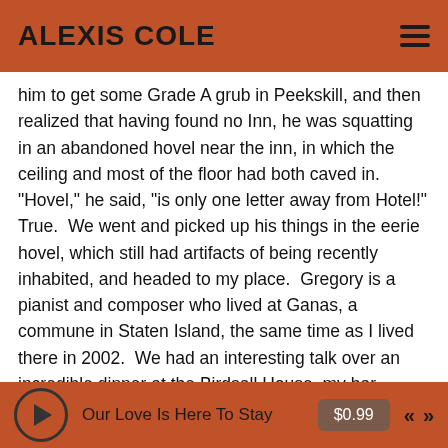ALEXIS COLE
him to get some Grade A grub in Peekskill, and then realized that having found no Inn, he was squatting in an abandoned hovel near the inn, in which the ceiling and most of the floor had both caved in.  "Hovel," he said, "is only one letter away from Hotel!" True.  We went and picked up his things in the eerie hovel, which still had artifacts of being recently inhabited, and headed to my place.  Gregory is a pianist and composer who lived at Ganas, a commune in Staten Island, the same time as I lived there in 2002.  We had an interesting talk over an incredible dinner at the Birdsall House, my bar, named for the structure which stood across the street, where General George Washington gave control of West Point to Benedict Arnold.  Woops!
Our Love Is Here To Stay  $0.99